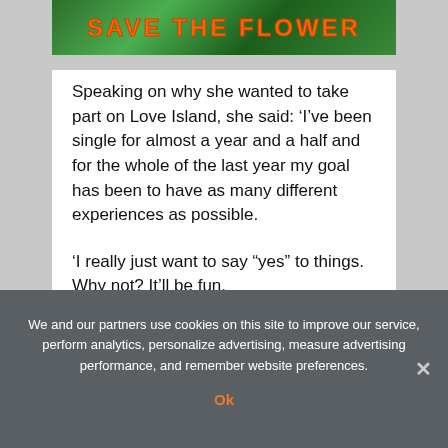[Figure (illustration): Green tropical leaf background banner with orange bold uppercase text reading 'SAVE THE FLOWER']
Speaking on why she wanted to take part on Love Island, she said: ‘I’ve been single for almost a year and a half and for the whole of the last year my goal has been to have as many different experiences as possible.
‘I really just want to say “yes” to things. Why not? It’ll be fun.
‘I’m a Cypriot girl and I love being in the sun.
We and our partners use cookies on this site to improve our service, perform analytics, personalize advertising, measure advertising performance, and remember website preferences.
Ok